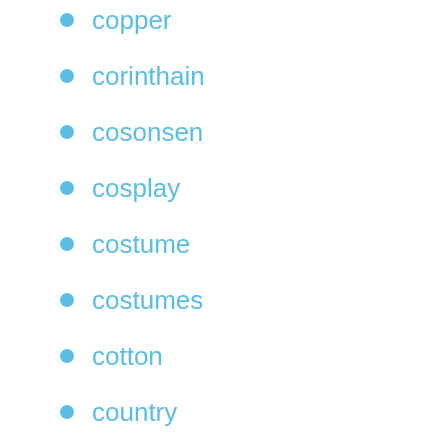copper
corinthain
cosonsen
cosplay
costume
costumes
cotton
country
crazy
create
crossbones
cult
custom
customize
customized
d-001
d-011
d-015